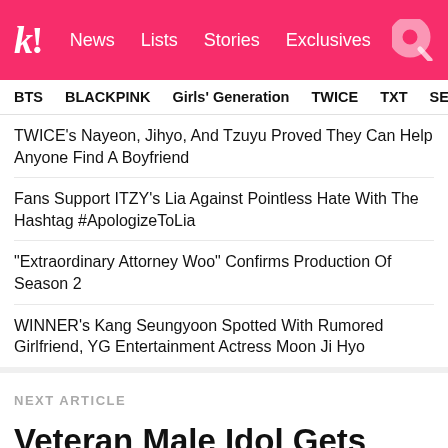koreaboo! News Lists Stories Exclusives
BTS BLACKPINK Girls' Generation TWICE TXT SEVE
TWICE's Nayeon, Jihyo, And Tzuyu Proved They Can Help Anyone Find A Boyfriend
Fans Support ITZY's Lia Against Pointless Hate With The Hashtag #ApologizeToLia
"Extraordinary Attorney Woo" Confirms Production Of Season 2
WINNER's Kang Seungyoon Spotted With Rumored Girlfriend, YG Entertainment Actress Moon Ji Hyo
NEXT ARTICLE
Veteran Male Idol Gets Caught Up In Two Dating Rumors In One